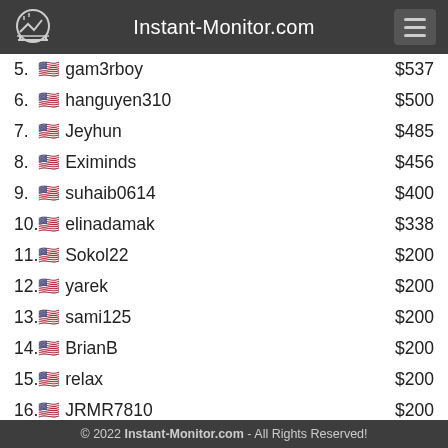Instant-Monitor.com
5.  gam3rboy  $537
6.  hanguyen310  $500
7.  Jeyhun  $485
8.  Eximinds  $456
9.  suhaib0614  $400
10. elinadamak  $338
11. Sokol22  $200
12. yarek  $200
13. sami125  $200
14. BrianB  $200
15. relax  $200
16. JRMR7810  $200
17. Antimeran  $200
18. katarnaakk  $194
19. Amali  $151
20. rev9  $115
© 2022 Instant-Monitor.com - All Rights Reserved!